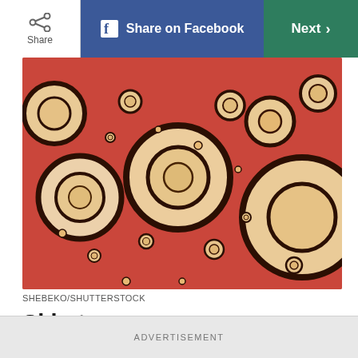Share | Share on Facebook | Next >
[Figure (photo): Microscopic image of skin tissue showing circular cross-sections of hair follicles or similar structures on a reddish background, illustrating skin biology.]
SHEBEKO/SHUTTERSTOCK
Skin tags are cancerous
Dermatologists say no: The tags are almost never cancerous and don't need to be removed. In fact, they're (almost!) always benign. And while many
ADVERTISEMENT